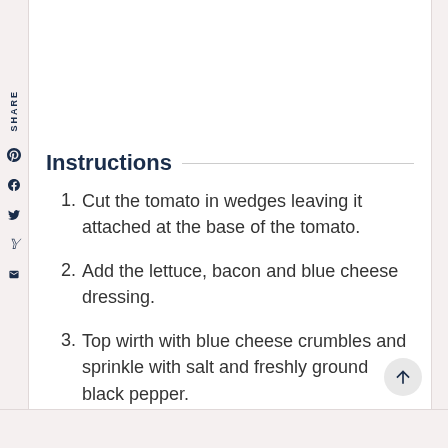Instructions
Cut the tomato in wedges leaving it attached at the base of the tomato.
Add the lettuce, bacon and blue cheese dressing.
Top wirth with blue cheese crumbles and sprinkle with salt and freshly ground black pepper.